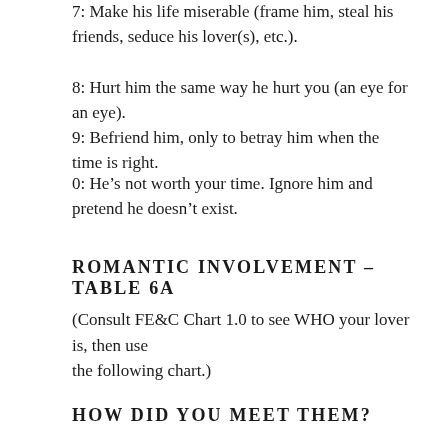7: Make his life miserable (frame him, steal his friends, seduce his lover(s), etc.).
8: Hurt him the same way he hurt you (an eye for an eye).
9: Befriend him, only to betray him when the time is right.
0: He’s not worth your time. Ignore him and pretend he doesn’t exist.
ROMANTIC INVOLVEMENT – TABLE 6A
(Consult FE&C Chart 1.0 to see WHO your lover is, then use
the following chart.)
HOW DID YOU MEET THEM?